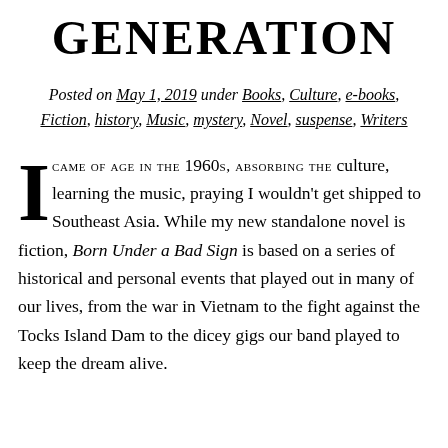GENERATION
Posted on May 1, 2019 under Books, Culture, e-books, Fiction, history, Music, mystery, Novel, suspense, Writers
I CAME OF AGE IN THE 1960s, ABSORBING THE culture, learning the music, praying I wouldn't get shipped to Southeast Asia. While my new standalone novel is fiction, Born Under a Bad Sign is based on a series of historical and personal events that played out in many of our lives, from the war in Vietnam to the fight against the Tocks Island Dam to the dicey gigs our band played to keep the dream alive.